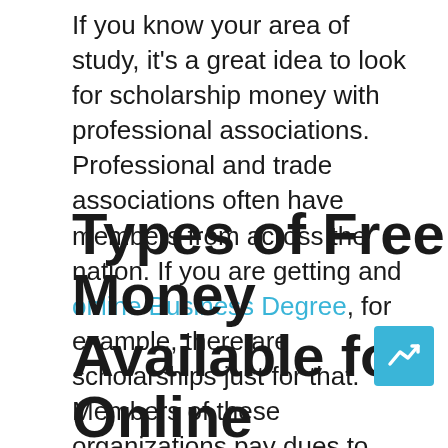If you know your area of study, it's a great idea to look for scholarship money with professional associations. Professional and trade associations often have members from across the nation. If you are getting and online Business Degree, for example, there are scholarships just for that. Members of these organizations pay dues to gain access to resources that pertain to their industry. Most of these organizations have similar missions to invest in their industries' future by awarding scholarship money to college-bound students.
Types of Free Money Available for Online